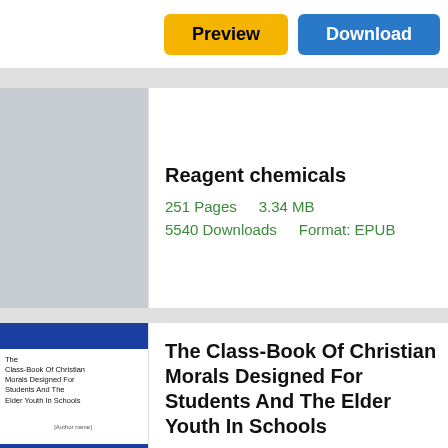[Figure (screenshot): Preview and Download buttons at top of page]
Reagent chemicals
251 Pages   3.34 MB   5540 Downloads   Format: EPUB
The Class-Book Of Christian Morals Designed For Students And The Elder Youth In Schools
553 Pages   2.84 MB   2329 Downloads   Format: PDF/FB2
Essential Elements 2000
378 Pages   4.63 MB   7616 Downloads   Format: PDF/FB2